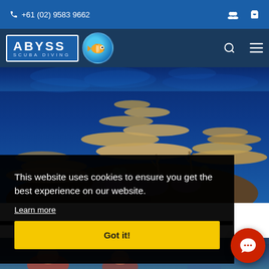+61 (02) 9583 9662
[Figure (logo): Abyss Scuba Diving logo with fish mascot on dark blue navigation bar]
[Figure (photo): Underwater coral reef photo showing colorful coral formations against deep blue ocean water]
This website uses cookies to ensure you get the best experience on our website.
Learn more
Got it!
[Figure (illustration): Red circular chat support button with speech bubble icon in bottom right corner]
[Figure (photo): Partial bottom strip showing people in water, partially obscured by cookie banner]